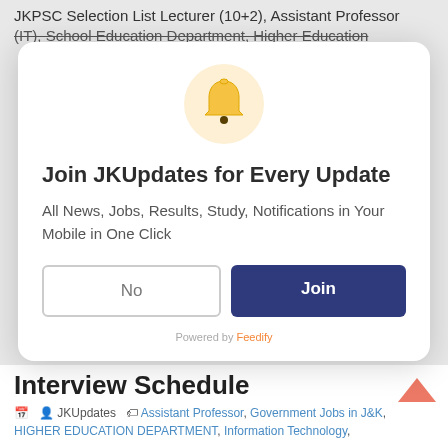JKPSC Selection List Lecturer (10+2), Assistant Professor (IT), School Education Department, Higher Education
[Figure (screenshot): Notification bell icon in a light yellow circular background]
Join JKUpdates for Every Update
All News, Jobs, Results, Study, Notifications in Your Mobile in One Click
No | Join
Powered by Feedify
Interview Schedule
JKUpdates   Assistant Professor, Government Jobs in J&K, HIGHER EDUCATION DEPARTMENT, Information Technology,